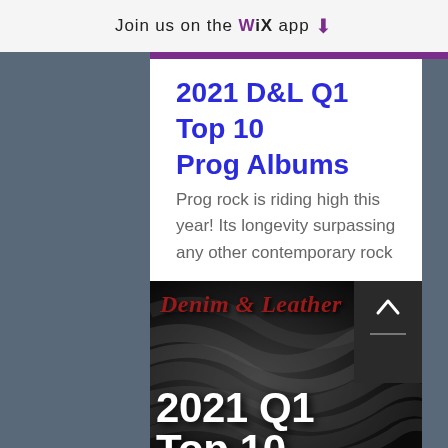Join us on the WiX app ↓
2021 D&L Q1 Top 10 Prog Albums
Prog rock is riding high this year! Its longevity surpassing any other contemporary rock …
1 ♡
[Figure (photo): Denim & Leather 2021 Q1 Top 10 text logo on dark swirling fabric background, with a scroll-up arrow button in the corner]